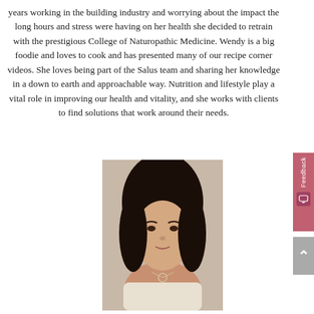years working in the building industry and worrying about the impact the long hours and stress were having on her health she decided to retrain with the prestigious College of Naturopathic Medicine. Wendy is a big foodie and loves to cook and has presented many of our recipe corner videos. She loves being part of the Salus team and sharing her knowledge in a down to earth and approachable way. Nutrition and lifestyle play a vital role in improving our health and vitality, and she works with clients to find solutions that work around their needs.
[Figure (photo): Headshot of a woman with dark hair, smiling, wearing a light-colored top and a necklace]